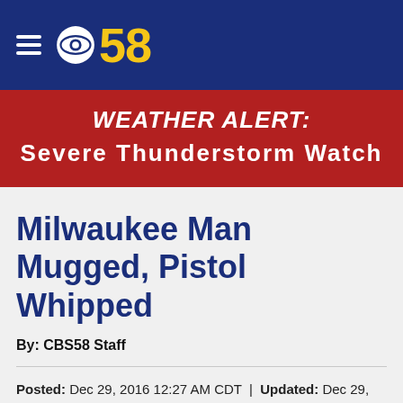[Figure (logo): CBS58 logo with hamburger menu icon on dark blue header bar]
WEATHER ALERT: Severe Thunderstorm Watch
Milwaukee Man Mugged, Pistol Whipped
By: CBS58 Staff
Posted: Dec 29, 2016 12:27 AM CDT | Updated: Dec 29, 2016 8:45 AM CDT